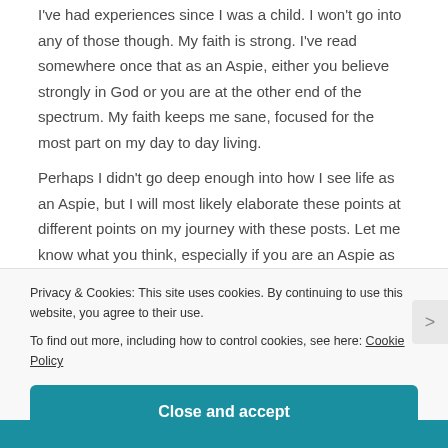I've had experiences since I was a child. I won't go into any of those though. My faith is strong. I've read somewhere once that as an Aspie, either you believe strongly in God or you are at the other end of the spectrum. My faith keeps me sane, focused for the most part on my day to day living.
Perhaps I didn't go deep enough into how I see life as an Aspie, but I will most likely elaborate these points at different points on my journey with these posts. Let me know what you think, especially if you are an Aspie as
Privacy & Cookies: This site uses cookies. By continuing to use this website, you agree to their use.
To find out more, including how to control cookies, see here: Cookie Policy